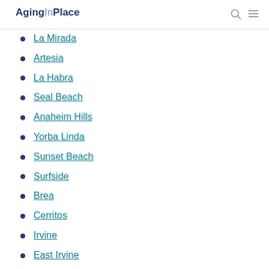AgingInPlace
La Mirada
Artesia
La Habra
Seal Beach
Anaheim Hills
Yorba Linda
Sunset Beach
Surfside
Brea
Cerritos
Irvine
East Irvine